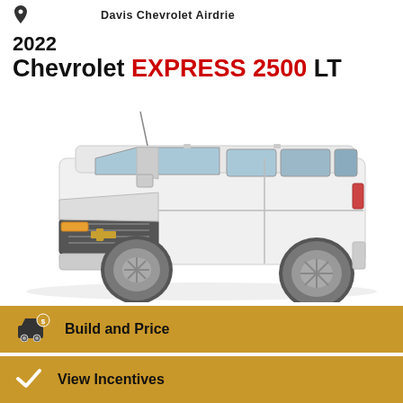Davis Chevrolet Airdrie
2022 Chevrolet EXPRESS 2500 LT
[Figure (photo): White 2022 Chevrolet Express 2500 LT full-size passenger van shown in a 3/4 front view on white background]
Build and Price
View Incentives